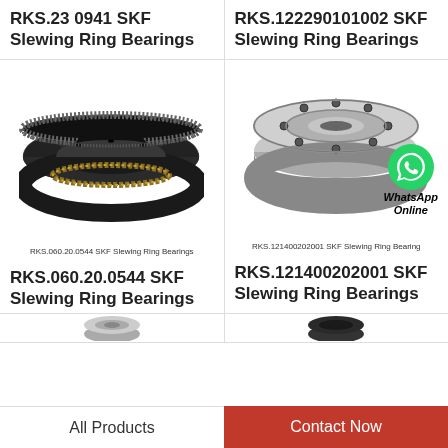RKS.23 0941 SKF Slewing Ring Bearings
RKS.122290101002 SKF Slewing Ring Bearings
[Figure (photo): Black gear-toothed slewing ring bearing (RKS.060.20.0544) viewed from above, showing inner and outer rings with ball elements]
RKS.060.20.0544 SKF Slewing Ring Bearings
RKS.060.20.0544 SKF Slewing Ring Bearings
[Figure (photo): Silver/grey compact slewing ring bearing (RKS.121400202001) with WhatsApp Online badge overlay]
RKS.121400202001 SKF Slewing Ring Bearings
RKS.121400202001 SKF Slewing Ring Bearings
All Products
Contact Now